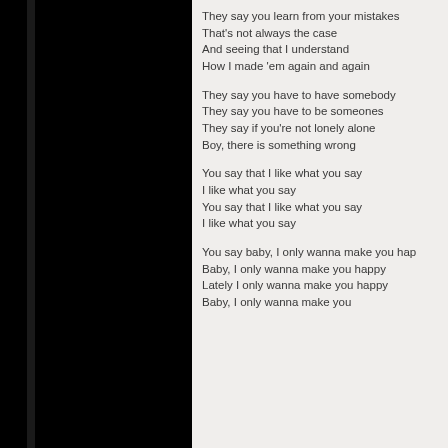They say you learn from your mistakes
That's not always the case
And seeing that I understand
How I made 'em again and again
They say you have to have somebody
They say you have to be someones
They say if you're not lonely alone
Boy, there is something wrong
You say that I like what you say
I like what you say
You say that I like what you say
I like what you say
You say baby, I only wanna make you hap
Baby, I only wanna make you happy
Lately I only wanna make you happy
Baby, I only wanna make you